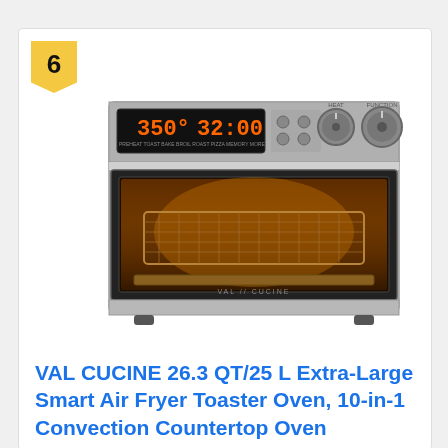[Figure (photo): VAL CUCINE stainless steel smart air fryer toaster oven with digital display showing 350°F and 32:00, control knobs, and interior oven rack visible through glass door]
6
VAL CUCINE 26.3 QT/25 L Extra-Large Smart Air Fryer Toaster Oven, 10-in-1 Convection Countertop Oven